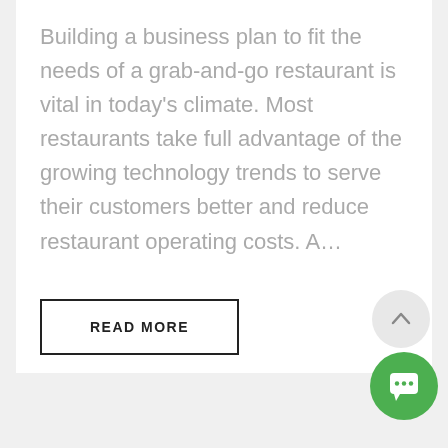Building a business plan to fit the needs of a grab-and-go restaurant is vital in today's climate. Most restaurants take full advantage of the growing technology trends to serve their customers better and reduce restaurant operating costs. A...
[Figure (other): READ MORE button — bordered rectangle with uppercase bold text]
[Figure (other): Scroll-to-top circular button with upward arrow icon]
[Figure (other): Green circular chat/message button with speech bubble icon]